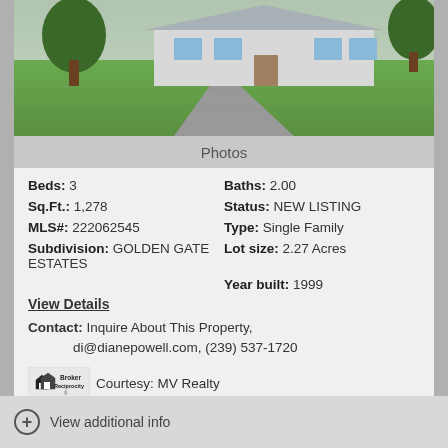[Figure (photo): Exterior photo of a single-family home with green lawn and trees]
Photos
Beds: 3   Baths: 2.00
Sq.Ft.: 1,278   Status: NEW LISTING
MLS#: 222062545   Type: Single Family
Subdivision: GOLDEN GATE ESTATES   Lot size: 2.27 Acres
Year built: 1999
View Details
Contact: Inquire About This Property, di@dianepowell.com, (239) 537-1720
Broker Reciprocity   Courtesy: MV Realty
Request Info   Save Property
View additional info